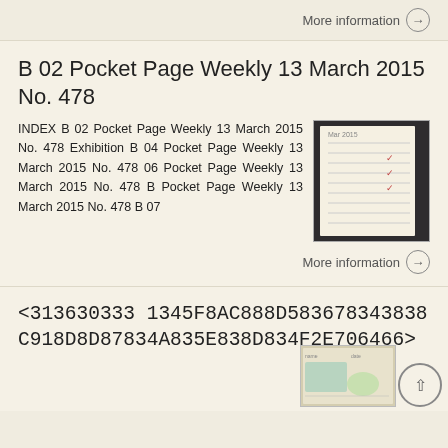More information →
B 02 Pocket Page Weekly 13 March 2015 No. 478
INDEX B 02 Pocket Page Weekly 13 March 2015 No. 478 Exhibition B 04 Pocket Page Weekly 13 March 2015 No. 478 06 Pocket Page Weekly 13 March 2015 No. 478 B Pocket Page Weekly 13 March 2015 No. 478 B 07
[Figure (photo): Thumbnail image of a pocket diary/planner page with handwritten entries and red marks]
More information →
<313630333 1345F8AC888D583678343838C918D8D87834A835E838D834F2E706466>
[Figure (photo): Small thumbnail image of a document/card at bottom right]
^ scroll to top button